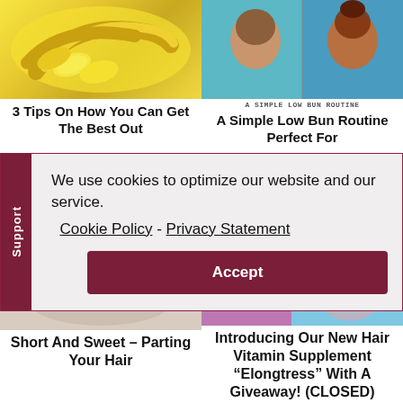[Figure (photo): Banana fruit photo - sliced and whole bananas]
3 Tips On How You Can Get The Best Out
[Figure (photo): Woman with low bun hairstyle]
A SIMPLE LOW BUN ROUTINE
A Simple Low Bun Routine Perfect For
We use cookies to optimize our website and our service.  Cookie Policy - Privacy Statement
Accept
[Figure (logo): GOV INFO badge logo]
Short And Sweet – Parting Your Hair
[Figure (photo): Hair vitamin supplement product photo]
Introducing Our New Hair Vitamin Supplement “Elongtress” With A Giveaway! (CLOSED)